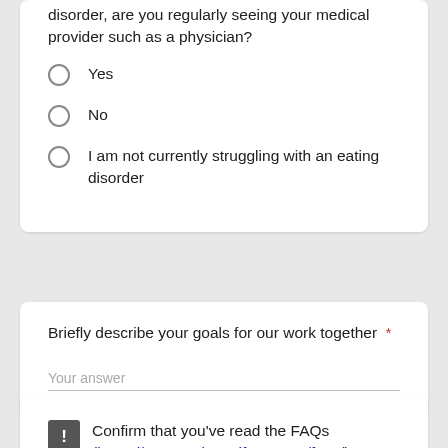disorder, are you regularly seeing your medical provider such as a physician?
Yes
No
I am not currently struggling with an eating disorder
Briefly describe your goals for our work together *
Your answer
Confirm that you've read the FAQs (https://www.taylorwolfram.com/faqs/) *